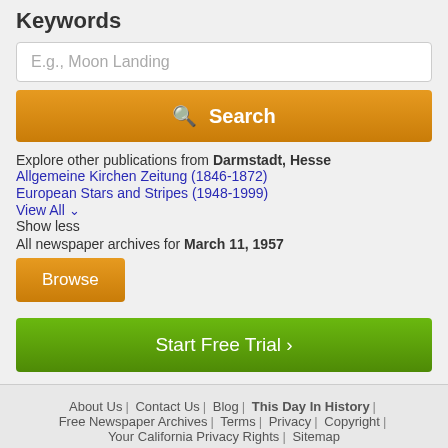Keywords
E.g., Moon Landing
Search
Explore other publications from Darmstadt, Hesse
Allgemeine Kirchen Zeitung (1846-1872)
European Stars and Stripes (1948-1999)
View All ∨
Show less
All newspaper archives for March 11, 1957
Browse
Start Free Trial ›
About Us | Contact Us | Blog | This Day In History | Free Newspaper Archives | Terms | Privacy | Copyright | Your California Privacy Rights | Sitemap
© Copyright 2022 NewspaperARCHIVE.com. All rights reserved.